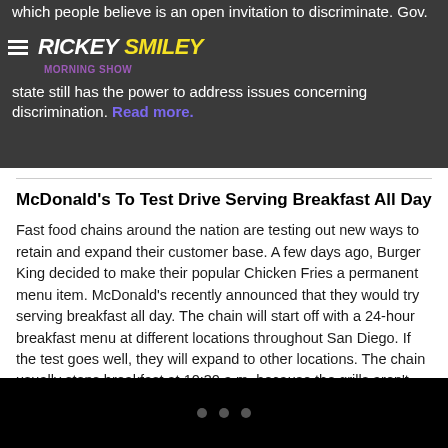which people believe is an open invitation to discriminate. Gov. [logo] RICKEYSMILEY MORNING SHOW state still has the power to address issues concerning discrimination. Read more.
McDonald's To Test Drive Serving Breakfast All Day
Fast food chains around the nation are testing out new ways to retain and expand their customer base. A few days ago, Burger King decided to make their popular Chicken Fries a permanent menu item. McDonald's recently announced that they would try serving breakfast all day. The chain will start off with a 24-hour breakfast menu at different locations throughout San Diego. If the test goes well, they will expand to other locations. The chain usually stops breakfast at 10:30 a.m. because the grills aren't big enough to contain both breakfast and lunch items. Read more.
• • •